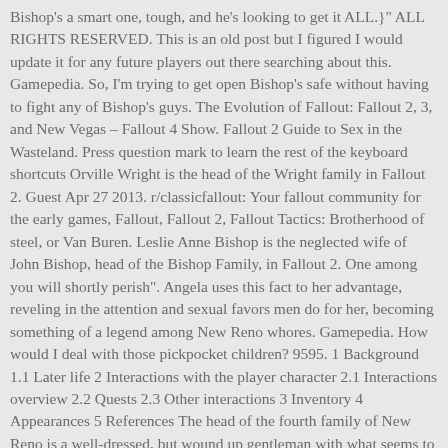Bishop's a smart one, tough, and he's looking to get it ALL.}" ALL RIGHTS RESERVED. This is an old post but I figured I would update it for any future players out there searching about this. Gamepedia. So, I'm trying to get open Bishop's safe without having to fight any of Bishop's guys. The Evolution of Fallout: Fallout 2, 3, and New Vegas – Fallout 4 Show. Fallout 2 Guide to Sex in the Wasteland. Press question mark to learn the rest of the keyboard shortcuts Orville Wright is the head of the Wright family in Fallout 2. Guest Apr 27 2013. r/classicfallout: Your fallout community for the early games, Fallout, Fallout 2, Fallout Tactics: Brotherhood of steel, or Van Buren. Leslie Anne Bishop is the neglected wife of John Bishop, head of the Bishop Family, in Fallout 2. One among you will shortly perish". Angela uses this fact to her advantage, reveling in the attention and sexual favors men do for her, becoming something of a legend among New Reno whores. Gamepedia. How would I deal with those pickpocket children? 9595. 1 Background 1.1 Later life 2 Interactions with the player character 2.1 Interactions overview 2.2 Quests 2.3 Other interactions 3 Inventory 4 Appearances 5 References The head of the fourth family of New Reno is a well-dressed, but wound up gentleman with what seems to be continuous, permanent anger on his face. RE: Bishop and the NCR talk to bishops wife (the one that looks like miss kitty from the